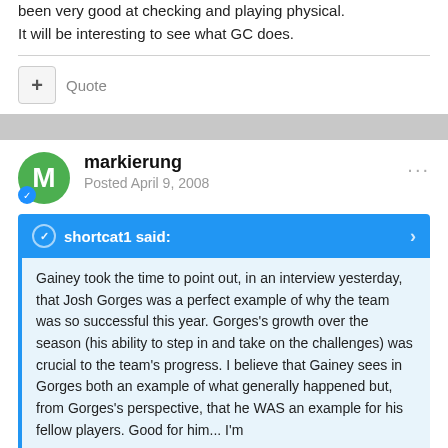been very good at checking and playing physical. It will be interesting to see what GC does.
+ Quote
markierung
Posted April 9, 2008
shortcat1 said:
Gainey took the time to point out, in an interview yesterday, that Josh Gorges was a perfect example of why the team was so successful this year. Gorges's growth over the season (his ability to step in and take on the challenges) was crucial to the team's progress. I believe that Gainey sees in Gorges both an example of what generally happened but, from Gorges's perspective, that he WAS an example for his fellow players. Good for him... I'm